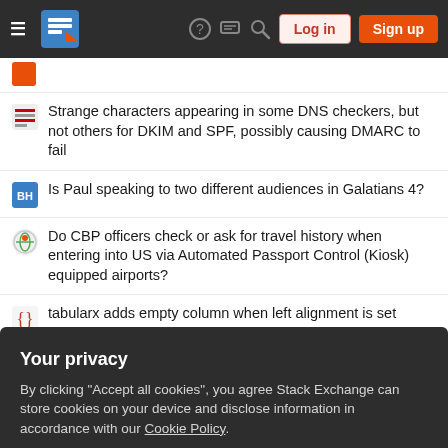[Figure (screenshot): Stack Exchange network navigation bar with hamburger menu, logo, help, chat, search icons, Login and Sign up buttons]
Strange characters appearing in some DNS checkers, but not others for DKIM and SPF, possibly causing DMARC to fail
Is Paul speaking to two different audiences in Galatians 4?
Do CBP officers check or ask for travel history when entering into US via Automated Passport Control (Kiosk) equipped airports?
tabularx adds empty column when left alignment is set
What is a novelty element?
Is it safe to have a drain in the floor out to the septic tank with no trap?
Simplify multipolygon removing small gaps in PostGIS
What does "as they do" mean in this Nobel citation?
Your privacy
By clicking "Accept all cookies", you agree Stack Exchange can store cookies on your device and disclose information in accordance with our Cookie Policy.
Accept all cookies   Customize settings
How can I deal with a lawyer who is ignoring the real client in favor of the technical client?